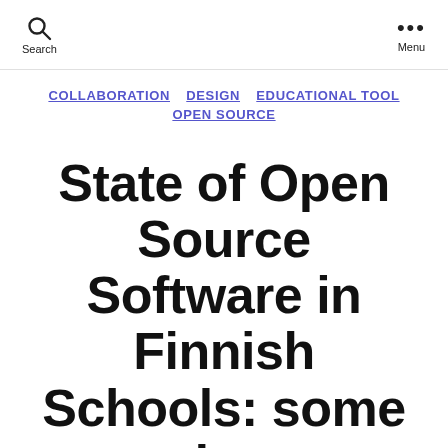Search | Menu
COLLABORATION  DESIGN  EDUCATIONAL TOOL  OPEN SOURCE
State of Open Source Software in Finnish Schools: some good news, something crucial still missing